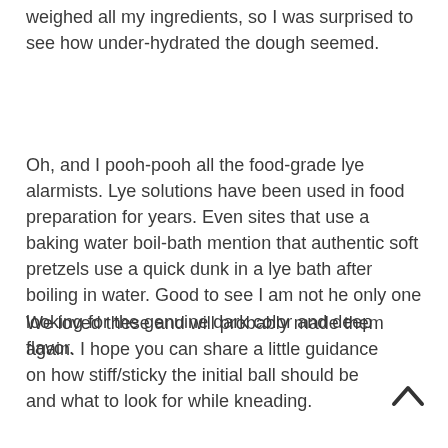weighed all my ingredients, so I was surprised to see how under-hydrated the dough seemed.
Oh, and I pooh-pooh all the food-grade lye alarmists. Lye solutions have been used in food preparation for years. Even sites that use a baking water boil-bath mention that authentic soft pretzels use a quick dunk in a lye bath after boiling in water. Good to see I am not he only one looking for the genuine dark color and deep flavor.
We loved these and will probably made them again. I hope you can share a little guidance on how stiff/sticky the initial ball should be and what to look for while kneading.